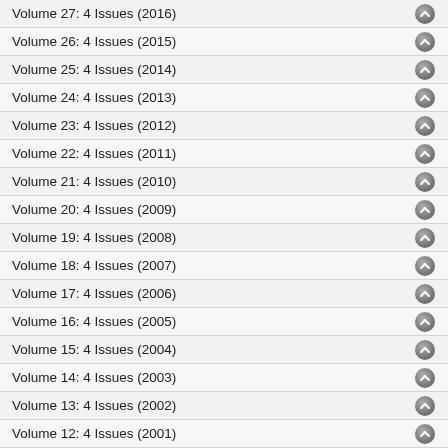Volume 27: 4 Issues (2016)
Volume 26: 4 Issues (2015)
Volume 25: 4 Issues (2014)
Volume 24: 4 Issues (2013)
Volume 23: 4 Issues (2012)
Volume 22: 4 Issues (2011)
Volume 21: 4 Issues (2010)
Volume 20: 4 Issues (2009)
Volume 19: 4 Issues (2008)
Volume 18: 4 Issues (2007)
Volume 17: 4 Issues (2006)
Volume 16: 4 Issues (2005)
Volume 15: 4 Issues (2004)
Volume 14: 4 Issues (2003)
Volume 13: 4 Issues (2002)
Volume 12: 4 Issues (2001)